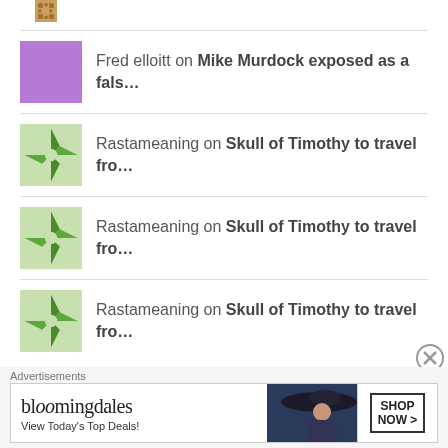Fred elloitt on Mike Murdock exposed as a fals…
Rastameaning on Skull of Timothy to travel fro…
Rastameaning on Skull of Timothy to travel fro…
Rastameaning on Skull of Timothy to travel fro…
[Figure (infographic): Bloomingdales advertisement banner with logo and SHOP NOW button]
Advertisements